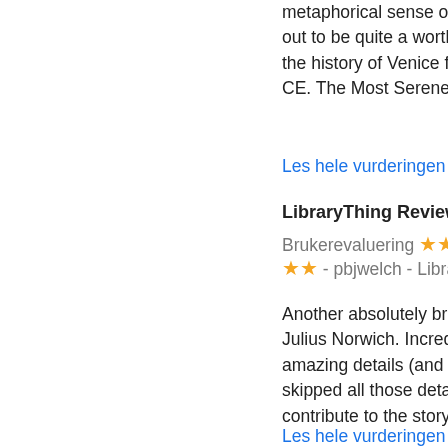metaphorical sense of the word, this turned out to be quite a worthwhile book. It covers the history of Venice from 421 CE to 1797 CE. The Most Serene Republic ...
Les hele vurderingen
LibraryThing Review
Brukerevaluering ★★★★★ - pbjwelch - LibraryThing
Another absolutely brilliant book by John Julius Norwich. Incredibly researched, full of amazing details (and the wisdom to have skipped all those details when they didn't contribute to the story ...
Les hele vurderingen